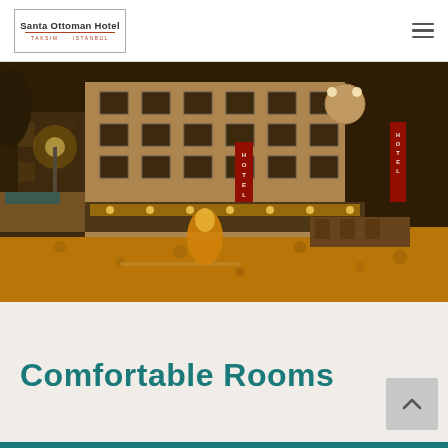Santa Ottoman Hotel — Taksim Istanbul
[Figure (photo): Night-time aerial view of Santa Ottoman Hotel at a street corner in Istanbul, warmly lit with golden lights illuminating the building facade, hotel signage visible, cobblestone street below]
Comfortable Rooms